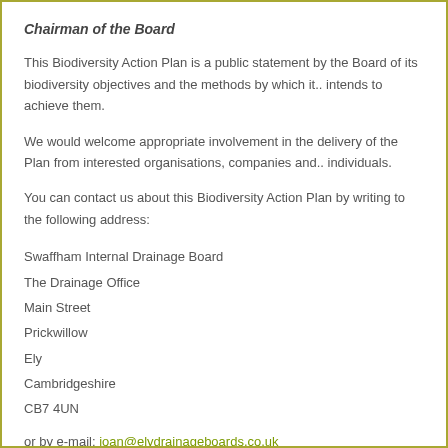Chairman of the Board
This Biodiversity Action Plan is a public statement by the Board of its biodiversity objectives and the methods by which it.. intends to achieve them.
We would welcome appropriate involvement in the delivery of the Plan from interested organisations, companies and.. individuals.
You can contact us about this Biodiversity Action Plan by writing to the following address:
Swaffham Internal Drainage Board
The Drainage Office
Main Street
Prickwillow
Ely
Cambridgeshire
CB7 4UN
or by e-mail: joan@elydrainageboards.co.uk